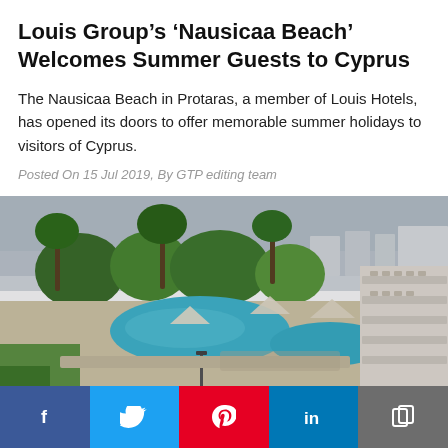Louis Group's 'Nausicaa Beach' Welcomes Summer Guests to Cyprus
The Nausicaa Beach in Protaras, a member of Louis Hotels, has opened its doors to offer memorable summer holidays to visitors of Cyprus.
Posted On 15 Jul 2019, By GTP editing team
[Figure (photo): Aerial view of Nausicaa Beach hotel in Protaras, Cyprus, showing the curved swimming pool, palm trees, hotel balconies, and surrounding town in the background under a hazy sky.]
Social share bar with Facebook, Twitter, Pinterest, LinkedIn, and copy link buttons